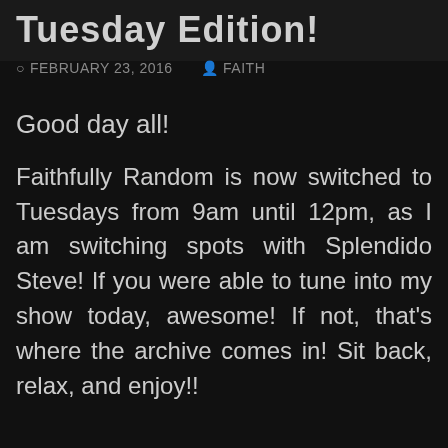Tuesday Edition!
FEBRUARY 23, 2016  FAITH
Good day all!
Faithfully Random is now switched to Tuesdays from 9am until 12pm, as I am switching spots with Splendido Steve! If you were able to tune into my show today, awesome! If not, that's where the archive comes in! Sit back, relax, and enjoy!!